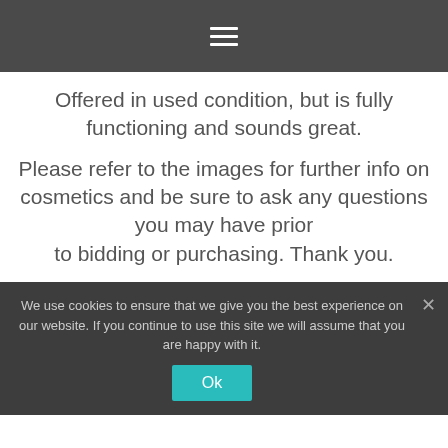☰
Offered in used condition, but is fully functioning and sounds great.

Please refer to the images for further info on cosmetics and be sure to ask any questions you may have prior to bidding or purchasing. Thank you.
We use cookies to ensure that we give you the best experience on our website. If you continue to use this site we will assume that you are happy with it.
Ok